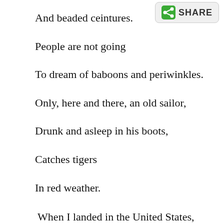[Figure (other): Share button with green share icon and bold text SHARE]
And beaded ceintures.
People are not going
To dream of baboons and periwinkles.
Only, here and there, an old sailor,
Drunk and asleep in his boots,
Catches tigers
In red weather.
When I landed in the United States, my aunt drove me home from would stay for a few weeks before going on to graduate school. I re during the drive. My aunt and I had plenty to say to each other, but aware of a silence that began outside the raised windows of her car scrim of houses and buildings in the neighborhoods we passed as t